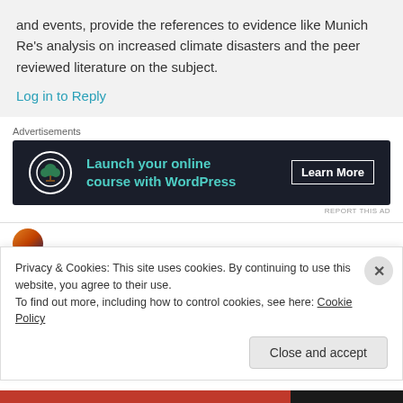and events, provide the references to evidence like Munich Re's analysis on increased climate disasters and the peer reviewed literature on the subject.
Log in to Reply
Advertisements
[Figure (screenshot): Dark advertisement banner: 'Launch your online course with WordPress' with Learn More button and tree/bonsai logo icon]
REPORT THIS AD
Privacy & Cookies: This site uses cookies. By continuing to use this website, you agree to their use.
To find out more, including how to control cookies, see here: Cookie Policy
Close and accept